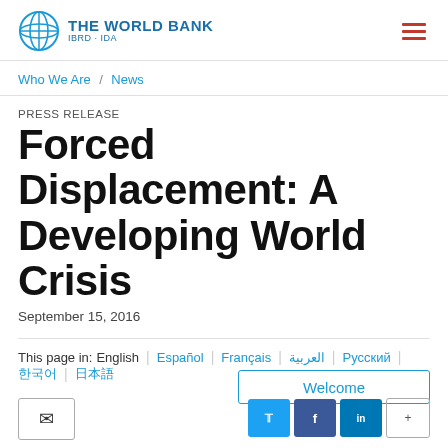THE WORLD BANK IBRD · IDA
Who We Are / News
PRESS RELEASE
Forced Displacement: A Developing World Crisis
September 15, 2016
This page in: English | Español | Français | العربية | Русский | 한국어 | 日本語